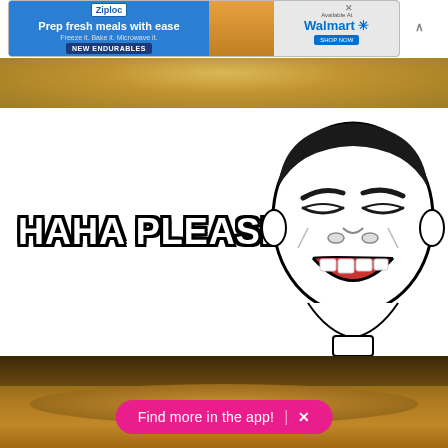[Figure (screenshot): Ziploc advertisement banner - 'Prep fresh meals with ease, Freeze it. Bake it. Microwave it. NEW ENDURABLES. Available At Walmart. SHOP NOW']
[Figure (photo): Golden/tan colored food item at the top, partially visible]
[Figure (illustration): Meme image with text 'HAHA PLEASE' on the left and a laughing man face cartoon (Yao Ming meme) on the right, on white background]
[Figure (photo): Close-up photo of food (appears to be a grilled cheese sandwich or similar) with brown/golden crust]
Find more in the app!